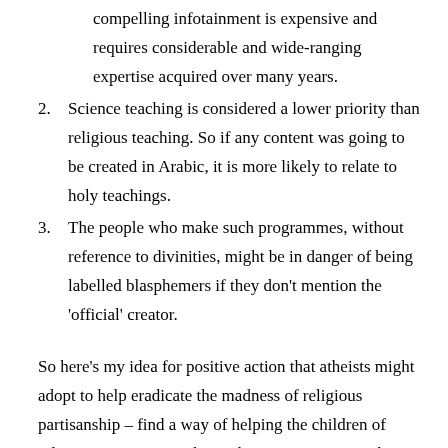compelling infotainment is expensive and requires considerable and wide-ranging expertise acquired over many years.
2. Science teaching is considered a lower priority than religious teaching. So if any content was going to be created in Arabic, it is more likely to relate to holy teachings.
3. The people who make such programmes, without reference to divinities, might be in danger of being labelled blasphemers if they don't mention the 'official' creator.
So here's my idea for positive action that atheists might adopt to help eradicate the madness of religious partisanship – find a way of helping the children of religious states to watch or otherwise experience the infotainment so widely available to free-thinking